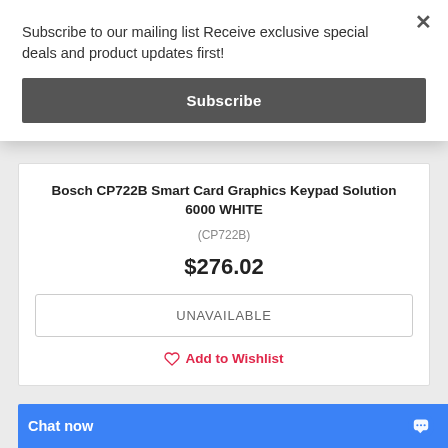Subscribe to our mailing list Receive exclusive special deals and product updates first!
Subscribe
×
Bosch CP722B Smart Card Graphics Keypad Solution 6000 WHITE
(CP722B)
$276.02
UNAVAILABLE
Add to Wishlist
Chat now